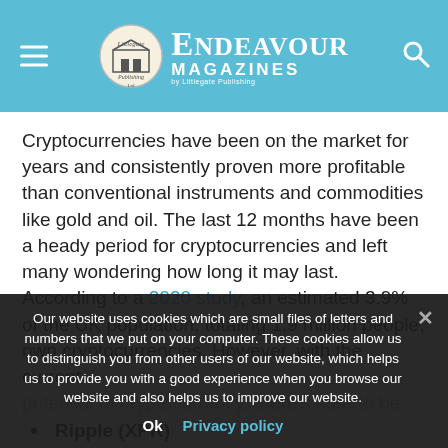ENDEAVOUR MAGAZINES by Littlegate Publishing
Cryptocurrencies have been on the market for years and consistently proven more profitable than conventional instruments and commodities like gold and oil. The last 12 months have been a heady period for cryptocurrencies and left many wondering how long it may last. According to a 2020 study, an estimated 3.9% of the UK population, totaling 1.9 million people, own cryptocurrencies. However, with the current potential of cryptocurrency, there's sure to be...
Our website uses cookies which are small files of letters and numbers that we put on your computer. These cookies allow us to distinguish you from other users of our website, which helps us to provide you with a good experience when you browse our website and also helps us to improve our website.
Ripple (XPR)